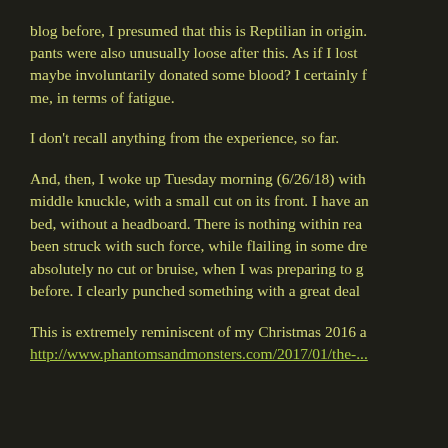blog before, I presumed that this is Reptilian in origin. pants were also unusually loose after this. As if I lost maybe involuntarily donated some blood? I certainly me, in terms of fatigue.
I don't recall anything from the experience, so far.
And, then, I woke up Tuesday morning (6/26/18) with middle knuckle, with a small cut on its front. I have an bed, without a headboard. There is nothing within rea been struck with such force, while flailing in some dre absolutely no cut or bruise, when I was preparing to g before. I clearly punched something with a great deal
This is extremely reminiscent of my Christmas 2016 a http://www.phantomsandmonsters.com/2017/01/the-...